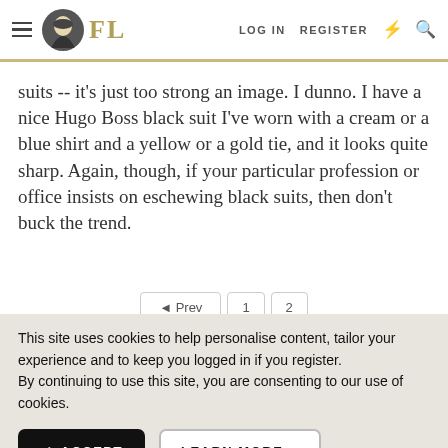FL — LOG IN  REGISTER
suits -- it's just too strong an image. I dunno. I have a nice Hugo Boss black suit I've worn with a cream or a blue shirt and a yellow or a gold tie, and it looks quite sharp. Again, though, if your particular profession or office insists on eschewing black suits, then don't buck the trend.
This site uses cookies to help personalise content, tailor your experience and to keep you logged in if you register. By continuing to use this site, you are consenting to our use of cookies.
✓ ACCEPT   LEARN MORE...
Prev  1  2
[Figure (screenshot): Advertisement banner: Walgreens 'Buy 2 Get 3rd Free Select Beauty Products!']